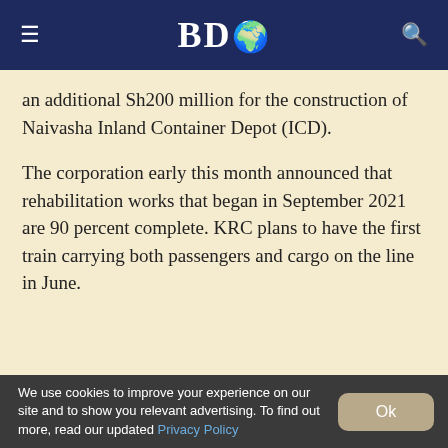BDO
an additional Sh200 million for the construction of Naivasha Inland Container Depot (ICD).
The corporation early this month announced that rehabilitation works that began in September 2021 are 90 percent complete. KRC plans to have the first train carrying both passengers and cargo on the line in June.
We use cookies to improve your experience on our site and to show you relevant advertising. To find out more, read our updated Privacy Policy